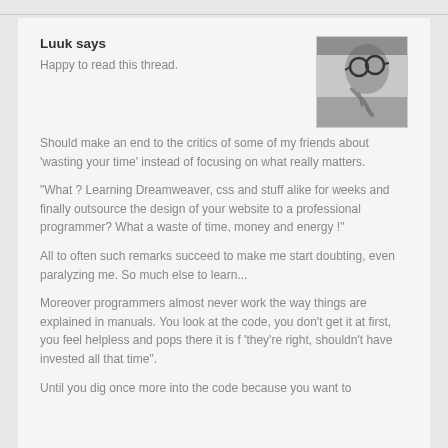Luuk says
Happy to read this thread.
[Figure (photo): Black and white photo of a person wearing glasses, hand near face]
Should make an end to the critics of some of my friends about 'wasting your time' instead of focusing on what really matters.
"What ? Learning Dreamweaver, css and stuff alike for weeks and finally outsource the design of your website to a professional programmer? What a waste of time, money and energy !"
All to often such remarks succeed to make me start doubting, even paralyzing me. So much else to learn...
Moreover programmers almost never work the way things are explained in manuals. You look at the code, you don't get it at first, you feel helpless and pops there it is f 'they're right, shouldn't have invested all that time".
Until you dig once more into the code because you want to